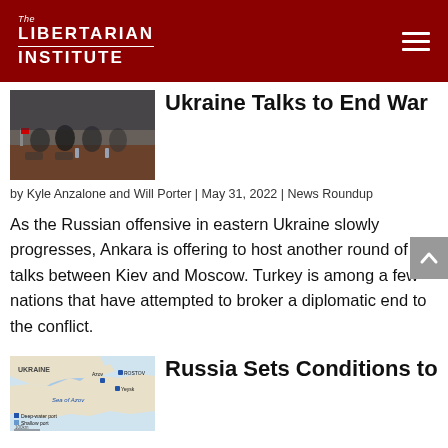The Libertarian Institute
[Figure (photo): Photo of people seated at a table in a diplomatic meeting setting]
Ukraine Talks to End War
by Kyle Anzalone and Will Porter | May 31, 2022 | News Roundup
As the Russian offensive in eastern Ukraine slowly progresses, Ankara is offering to host another round of talks between Kiev and Moscow. Turkey is among a few nations that have attempted to broker a diplomatic end to the conflict.
[Figure (map): Map showing Ukraine, Sea of Azov, and surrounding region with ports marked]
Russia Sets Conditions to